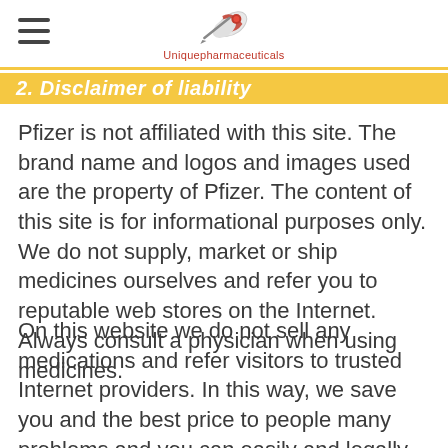Uniquepharmaceuticals
2. Disclaimer of liability
Pfizer is not affiliated with this site. The brand name and logos and images used are the property of Pfizer. The content of this site is for informational purposes only. We do not supply, market or ship medicines ourselves and refer you to reputable web stores on the Internet. Always consult a physician when using medicines.
On this website we do not sell any medications and refer visitors to trusted Internet providers. In this way, we save you and the best price to people many problems and you can easily and legally obtain this powerful medicine.